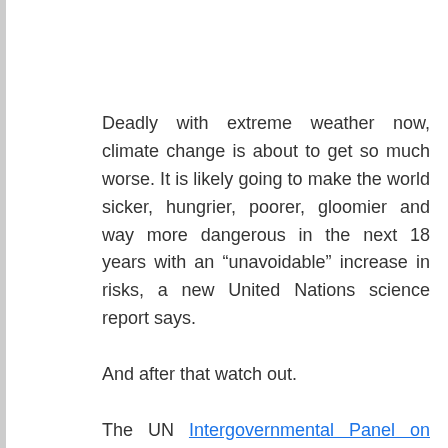Deadly with extreme weather now, climate change is about to get so much worse. It is likely going to make the world sicker, hungrier, poorer, gloomier and way more dangerous in the next 18 years with an “unavoidable” increase in risks, a new United Nations science report says.
And after that watch out.
The UN Intergovernmental Panel on Climate Change report said Monday if human-caused global warming isn’t limited to just another couple tenths of a degree, an Earth now struck